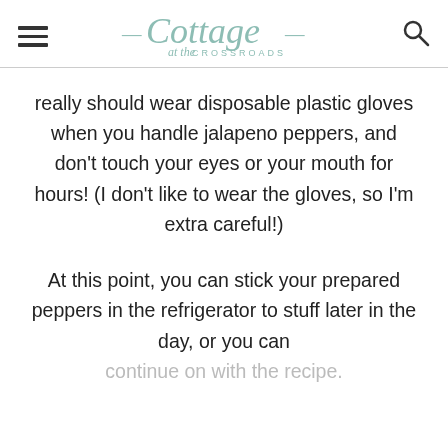Cottage at the Crossroads
really should wear disposable plastic gloves when you handle jalapeno peppers, and don't touch your eyes or your mouth for hours! (I don't like to wear the gloves, so I'm extra careful!)
At this point, you can stick your prepared peppers in the refrigerator to stuff later in the day, or you can continue on with the recipe.